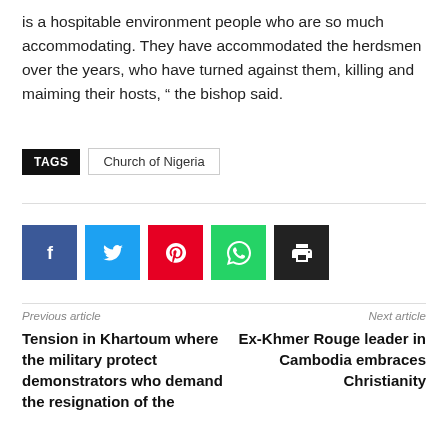is a hospitable environment people who are so much accommodating. They have accommodated the herdsmen over the years, who have turned against them, killing and maiming their hosts, “ the bishop said.
TAGS  Church of Nigeria
[Figure (infographic): Social share buttons: Facebook, Twitter, Pinterest, WhatsApp, Print]
Previous article
Tension in Khartoum where the military protect demonstrators who demand the resignation of the
Next article
Ex-Khmer Rouge leader in Cambodia embraces Christianity